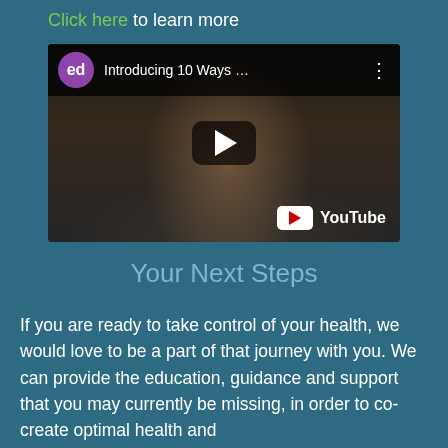Click here to learn more
[Figure (screenshot): YouTube video thumbnail showing 'Introducing 10 Ways ...' with a person visible, YouTube logo and play button overlay, channel avatar with 'ed' label in purple circle]
Your Next Steps
If you are ready to take control of your health, we would love to be a part of that journey with you. We can provide the education, guidance and support that you may currently be missing, in order to co-create optimal health and